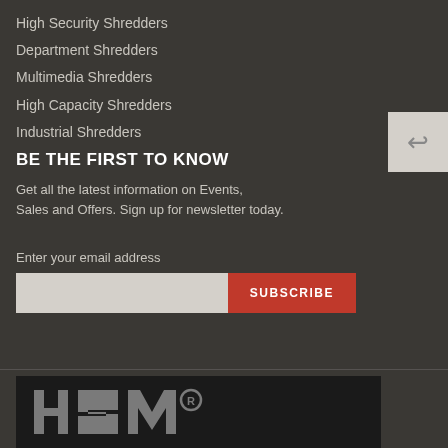High Security Shredders
Department Shredders
Multimedia Shredders
High Capacity Shredders
Industrial Shredders
BE THE FIRST TO KNOW
Get all the latest information on Events, Sales and Offers. Sign up for newsletter today.
Enter your email address
[Figure (screenshot): Email subscription input field and red SUBSCRIBE button]
[Figure (logo): HSM registered trademark logo in gray on dark background]